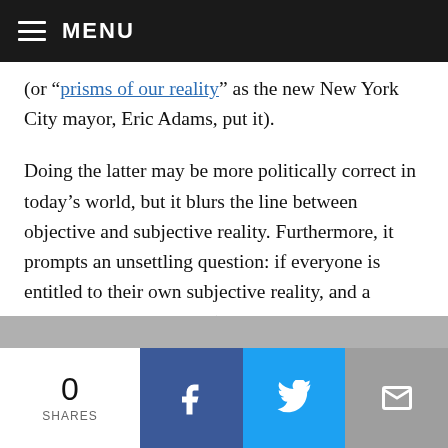MENU
(or “prisms of our reality” as the new New York City mayor, Eric Adams, put it).
Doing the latter may be more politically correct in today’s world, but it blurs the line between objective and subjective reality. Furthermore, it prompts an unsettling question: if everyone is entitled to their own subjective reality, and a shared objective reality (the physical reality everyone experiences in common) can be invalidated through deliberately changing the meaning of words, won’t this divide all individuals into their own self-defined
0 SHARES